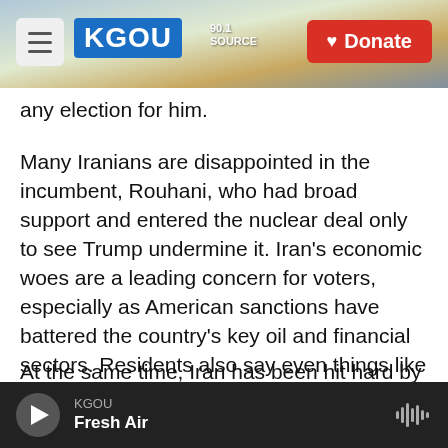[Figure (screenshot): KGOU radio website header with logo, hamburger menu button, city background photo, and red Donate button]
any election for him.
Many Iranians are disappointed in the incumbent, Rouhani, who had broad support and entered the nuclear deal only to see Trump undermine it. Iran's economic woes are a leading concern for voters, especially as American sanctions have battered the country's key oil and financial sectors. Residents also say even things like food and medicine — which U.S. officials say are not targeted by sanctions — are hard to come by.
At the same time, Iran has been hit hard by the coronavirus. The country has recorded more than 3
KGOU  Fresh Air